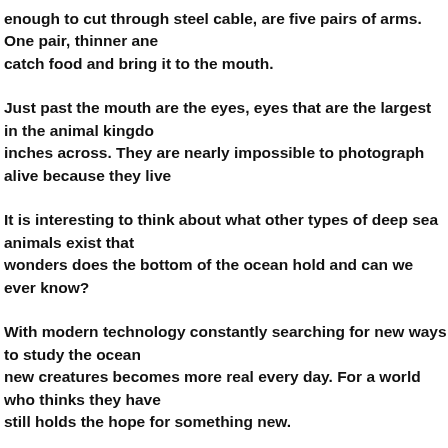enough to cut through steel cable, are five pairs of arms. One pair, thinner and catch food and bring it to the mouth.
Just past the mouth are the eyes, eyes that are the largest in the animal kingdom inches across. They are nearly impossible to photograph alive because they live
It is interesting to think about what other types of deep sea animals exist that wonders does the bottom of the ocean hold and can we ever know?
With modern technology constantly searching for new ways to study the ocean, new creatures becomes more real every day. For a world who thinks they have still holds the hope for something new.
About the Author
Emma Snow has always adored wild animals. Emma provides content for Wild animals.com/ and Riding Stable http://www.riding-stable.com/